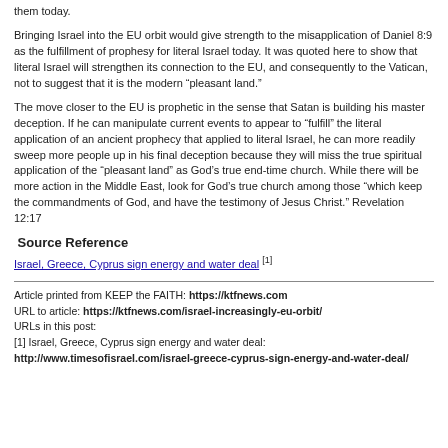them today.
Bringing Israel into the EU orbit would give strength to the misapplication of Daniel 8:9 as the fulfillment of prophesy for literal Israel today. It was quoted here to show that literal Israel will strengthen its connection to the EU, and consequently to the Vatican, not to suggest that it is the modern “pleasant land.”
The move closer to the EU is prophetic in the sense that Satan is building his master deception. If he can manipulate current events to appear to “fulfill” the literal application of an ancient prophecy that applied to literal Israel, he can more readily sweep more people up in his final deception because they will miss the true spiritual application of the “pleasant land” as God’s true end-time church. While there will be more action in the Middle East, look for God’s true church among those “which keep the commandments of God, and have the testimony of Jesus Christ.” Revelation 12:17
Source Reference
Israel, Greece, Cyprus sign energy and water deal [1]
Article printed from KEEP the FAITH: https://ktfnews.com
URL to article: https://ktfnews.com/israel-increasingly-eu-orbit/
URLs in this post:
[1] Israel, Greece, Cyprus sign energy and water deal: http://www.timesofisrael.com/israel-greece-cyprus-sign-energy-and-water-deal/